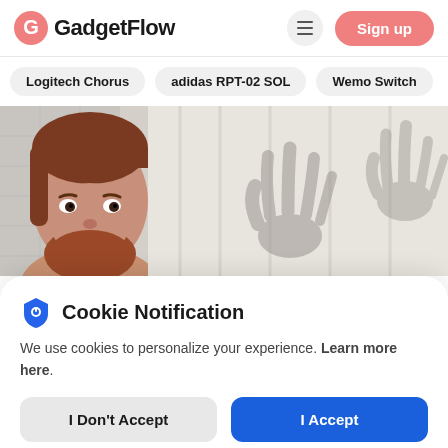[Figure (logo): GadgetFlow logo with pink/red G icon and bold black text]
Sign up
Logitech Chorus
adidas RPT-02 SOL
Wemo Switch
[Figure (photo): Man with red beard peeking out from behind a shower curtain, with shadowy hand silhouettes visible through the white curtain]
Cookie Notification
We use cookies to personalize your experience. Learn more here.
I Don't Accept
I Accept